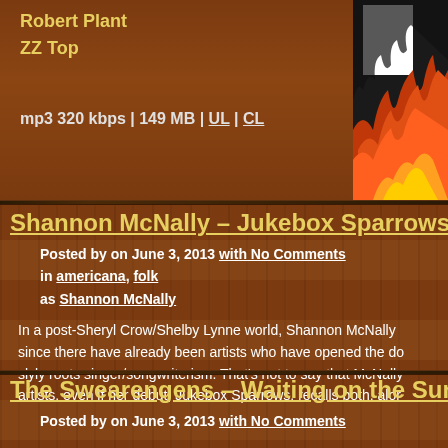Robert Plant
ZZ Top
mp3 320 kbps | 149 MB | UL | CL
[Figure (photo): Album cover showing flames/fire artwork in orange, red and yellow tones against a black and white background]
Shannon McNally – Jukebox Sparrows (2...
Posted by on June 3, 2013 with No Comments
in americana, folk
as Shannon McNally
In a post-Sheryl Crow/Shelby Lynne world, Shannon McNally since there have already been artists who have opened the do slyly roots singer/songwriterism. That's not to say that McNally artists, even if her debut, Jukebox Sparrows, recalls both, alor
The Swearengens – Waiting on the Sunri...
Posted by on June 3, 2013 with No Comments